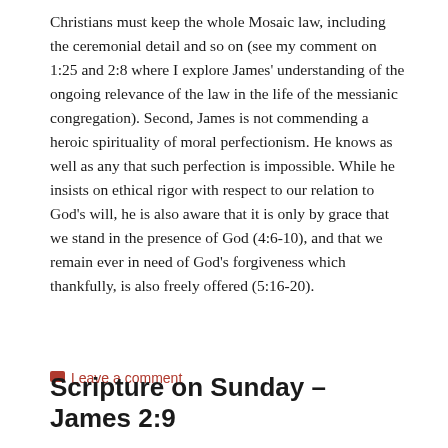Christians must keep the whole Mosaic law, including the ceremonial detail and so on (see my comment on 1:25 and 2:8 where I explore James' understanding of the ongoing relevance of the law in the life of the messianic congregation). Second, James is not commending a heroic spirituality of moral perfectionism. He knows as well as any that such perfection is impossible. While he insists on ethical rigor with respect to our relation to God's will, he is also aware that it is only by grace that we stand in the presence of God (4:6-10), and that we remain ever in need of God's forgiveness which thankfully, is also freely offered (5:16-20).
Leave a comment
Scripture on Sunday – James 2:9